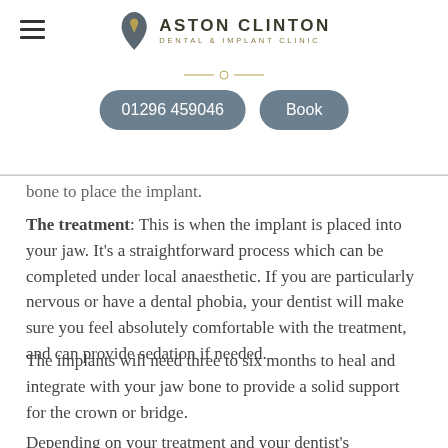Aston Clinton Dental & Implant Clinic | 01296 459046 | Book
bone to place the implant.
The treatment: This is when the implant is placed into your jaw. It’s a straightforward process which can be completed under local anaesthetic. If you are particularly nervous or have a dental phobia, your dentist will make sure you feel absolutely comfortable with the treatment, and can provide sedation if needed.
The implants will need three to six months to heal and integrate with your jaw bone to provide a solid support for the crown or bridge.
Depending on your treatment and your dentist’s